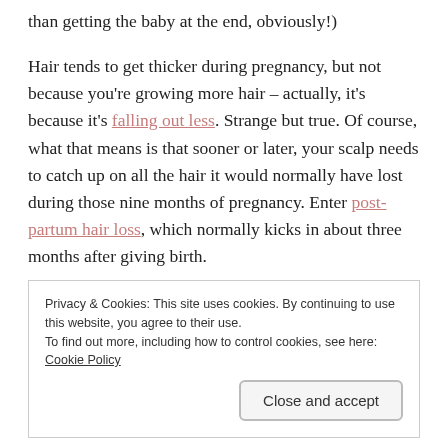than getting the baby at the end, obviously!)
Hair tends to get thicker during pregnancy, but not because you're growing more hair – actually, it's because it's falling out less. Strange but true. Of course, what that means is that sooner or later, your scalp needs to catch up on all the hair it would normally have lost during those nine months of pregnancy. Enter post-partum hair loss, which normally kicks in about three months after giving birth.
Even though I know it's totally normal, I'm still finding it a
Privacy & Cookies: This site uses cookies. By continuing to use this website, you agree to their use.
To find out more, including how to control cookies, see here: Cookie Policy